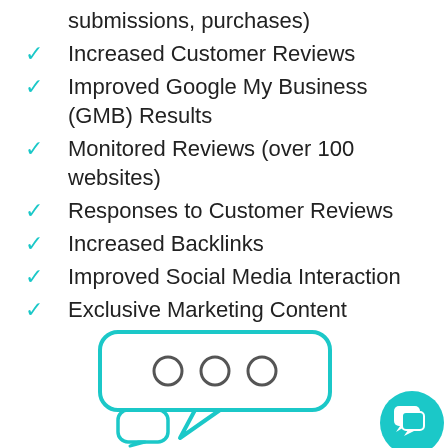submissions, purchases)
Increased Customer Reviews
Improved Google My Business (GMB) Results
Monitored Reviews (over 100 websites)
Responses to Customer Reviews
Increased Backlinks
Improved Social Media Interaction
Exclusive Marketing Content
[Figure (illustration): Chat bubble illustration with three circles inside, and a smaller speech bubble below, both outlined in teal/cyan color. A teal circular chat icon button appears in the bottom right.]